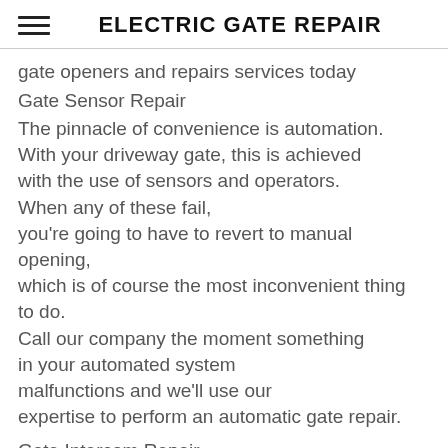ELECTRIC GATE REPAIR
gate openers and repairs services today
Gate Sensor Repair
The pinnacle of convenience is automation. With your driveway gate, this is achieved with the use of sensors and operators. When any of these fail, you're going to have to revert to manual opening, which is of course the most inconvenient thing to do. Call our company the moment something in your automated system malfunctions and we'll use our expertise to perform an automatic gate repair.
Gate Intercom Repair
Electro Magnetic Locks Repair AAAAAA Ca